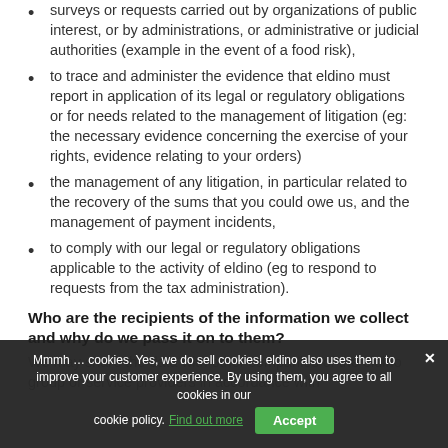surveys or requests carried out by organizations of public interest, or by administrations, or administrative or judicial authorities (example in the event of a food risk),
to trace and administer the evidence that eldino must report in application of its legal or regulatory obligations or for needs related to the management of litigation (eg: the necessary evidence concerning the exercise of your rights, evidence relating to your orders)
the management of any litigation, in particular related to the recovery of the sums that you could owe us, and the management of payment incidents,
to comply with our legal or regulatory obligations applicable to the activity of eldino (eg to respond to requests from the tax administration).
Who are the recipients of the information we collect and why do we pass it on to them?
We may share the data with other companies of the eldino group or service providers in accordance with
Mmmh … cookies. Yes, we do sell cookies! eldino also uses them to improve your customer experience. By using them, you agree to all cookies in our cookie policy. Find out more  Accept